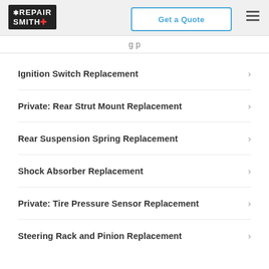RepairSmith | Get a Quote
Ignition Switch Replacement
Private: Rear Strut Mount Replacement
Rear Suspension Spring Replacement
Shock Absorber Replacement
Private: Tire Pressure Sensor Replacement
Steering Rack and Pinion Replacement